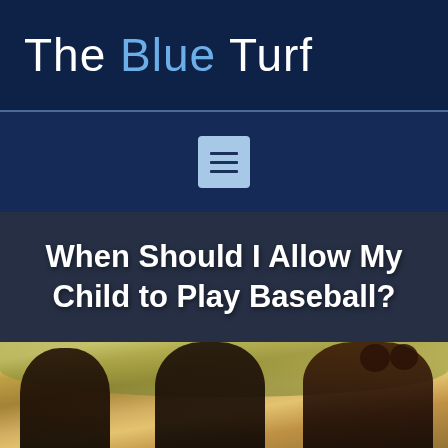The Blue Turf
[Figure (other): Navigation hamburger menu button icon with three horizontal lines on a light blue square background, on a dark navy banner]
When Should I Allow My Child to Play Baseball?
[Figure (photo): Photo of children outdoors, two children visible in the foreground with trees in the background, warm lighting]